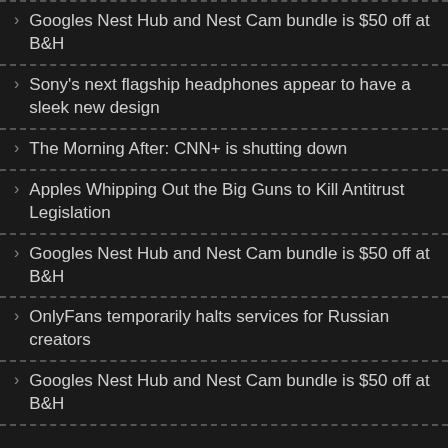Googles Nest Hub and Nest Cam bundle is $50 off at B&H
Sony's next flagship headphones appear to have a sleek new design
The Morning After: CNN+ is shutting down
Apples Whipping Out the Big Guns to Kill Antitrust Legislation
Googles Nest Hub and Nest Cam bundle is $50 off at B&H
OnlyFans temporarily halts services for Russian creators
Googles Nest Hub and Nest Cam bundle is $50 off at B&H